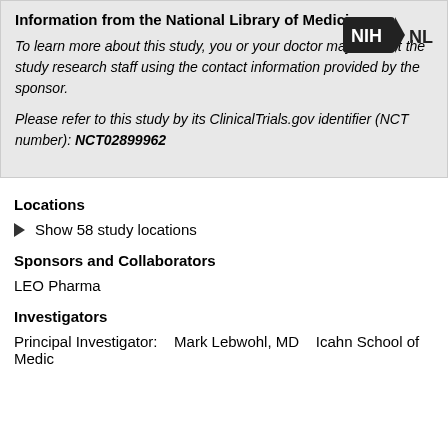Information from the National Library of Medicine
To learn more about this study, you or your doctor may contact the study research staff using the contact information provided by the sponsor.

Please refer to this study by its ClinicalTrials.gov identifier (NCT number): NCT02899962
Locations
Show 58 study locations
Sponsors and Collaborators
LEO Pharma
Investigators
Principal Investigator:    Mark Lebwohl, MD    Icahn School of Medic